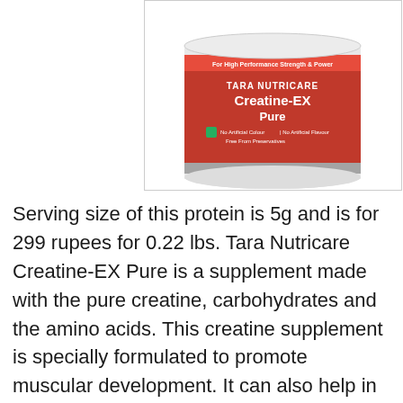[Figure (photo): Photo of Tara Nutricare Creatine-EX Pure supplement tub, white container with red label, showing product branding and website www.taranuricare.com]
Serving size of this protein is 5g and is for 299 rupees for 0.22 lbs. Tara Nutricare Creatine-EX Pure is a supplement made with the pure creatine, carbohydrates and the amino acids. This creatine supplement is specially formulated to promote muscular development. It can also help in protein synthesis and is loaded with amino acids like BCAAs also. It will also work as a work out booster and cover ups the dietary requirements.